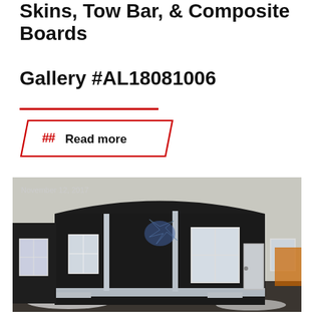Skins, Tow Bar, & Composite Boards
Gallery #AL18081006
Read more
[Figure (photo): Exterior photo of a black modular portable building/shelter unit with white-framed windows and door, silver diamond-plate trim at base, parked on gravel/asphalt lot with snow visible. Date stamp: November 12, 2017.]